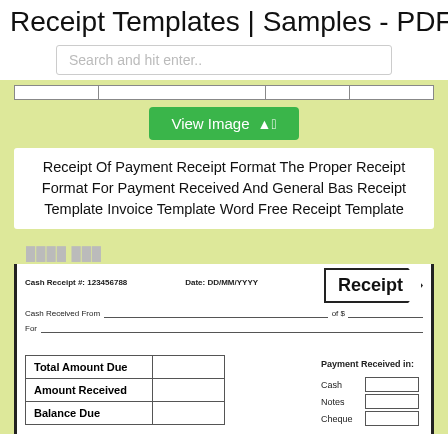Receipt Templates | Samples - PDF
Search and hit enter..
[Figure (screenshot): Partial preview of a receipt table with columns]
View Image
Receipt Of Payment Receipt Format The Proper Receipt Format For Payment Received And General Bas Receipt Template Invoice Template Word Free Receipt Template
[Figure (other): Partial blurred text preview at top of receipt document]
Receipt
Cash Receipt #: 123456788   Date: DD/MM/YYYY
Cash Received From __________________________ of $ ____________________
For ___________________________________________
|  |  |
| --- | --- |
| Total Amount Due |  |
| Amount Received |  |
| Balance Due |  |
Payment Received in:
Cash
Notes
Cheque